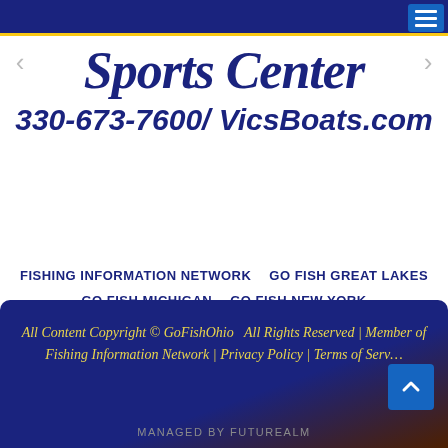Navigation bar with hamburger menu
[Figure (logo): Vic's Sports Center logo with cursive text 'Sports Center' in dark blue and phone number/website '330-673-7600/ VicsBoats.com']
FISHING INFORMATION NETWORK
GO FISH GREAT LAKES
GO FISH MICHIGAN
GO FISH NEW YORK
GO FISH PENNSYLVANIA
YOUR FISHING TACKLE
OHIO BASS BOATS
All Content Copyright © GoFishOhio  All Rights Reserved | Member of Fishing Information Network | Privacy Policy | Terms of Serv…
MANAGED BY FUTUREALM